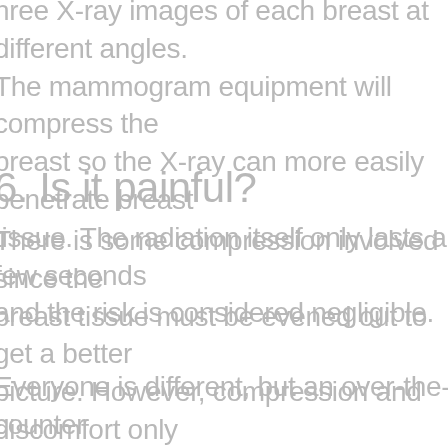hree X-ray images of each breast at different angles. The mammogram equipment will compress the breast so the X-ray can more easily penetrate breast tissue. The radiation itself only lasts a few seconds and the risk is considered negligible.
6. Is it painful?
There is some compression involved since the breast tissue must be evened out to get a better picture. However, compression and discomfort only last a few seconds per image. Younger women often have denser breast tissue, so a few additional images may be necessary.
Everyone is different, but an over-the-counter painkiller may be helpful for women with a low pain tolerance," she says. "Some women benefit from